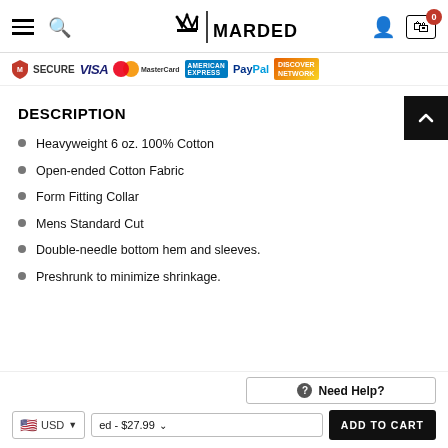Navigation bar with hamburger menu, search, brand logo, user icon, cart (0)
[Figure (logo): Payment security badges: Secure (McAfee-style), VISA, MasterCard, American Express, PayPal, Discover Network]
DESCRIPTION
Heavyweight 6 oz. 100% Cotton
Open-ended Cotton Fabric
Form Fitting Collar
Mens Standard Cut
Double-needle bottom hem and sleeves.
Preshrunk to minimize shrinkage.
Need Help?
USD | ed - $27.99 | ADD TO CART